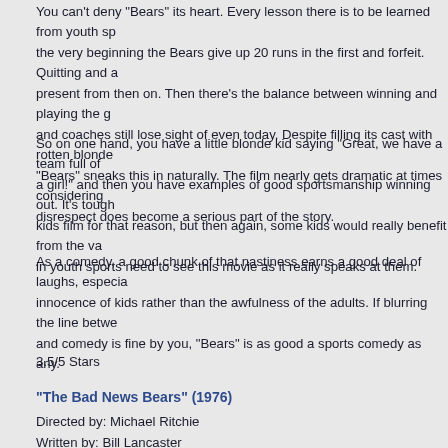You can't deny “Bears” its heart. Every lesson there is to be learned from youth sp... the very beginning the Bears give up 20 runs in the first and forfeit. Quitting and a... present from then on. Then there’s the balance between winning and playing the g... and coaches still lose sight of even today. Despite filling its cast with rotten blonde... “Bears” sneaks this in naturally. The film nearly gets dramatic at times considering... disrespect does become a serious part of the story.
So on one hand, you have a little blonde kid saying “Great, we have a team full of... a girl!” and then you have examples of good sportsmanship winning out. It’s tough... kids film for that reason, but then again, some kids would really benefit from the va... in youth sports need to see this movie as it really speaks at them.
As a comedy, a good chunk of that nastiness earns a good deal of laughs, especia... innocence of kids rather than the awfulness of the adults. If blurring the line betwe... and comedy is fine by you, “Bears” is as good a sports comedy as any.
3.5/5 Stars
“The Bad News Bears” (1976)
Directed by: Michael Ritchie
Written by: Bill Lancaster
Starring: Walter Matthau, Tatum O’Neal